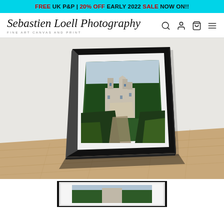FREE UK P&P | 20% OFF EARLY 2022 SALE NOW ON!!
Sebastien Loell Photography
FINE ART CANVAS AND PRINT
[Figure (photo): A framed fine art print of a castle (Eltz Castle) surrounded by green forested hills, shown leaning against a wall on a wooden floor. Black frame with white mat border.]
[Figure (photo): Smaller thumbnail of the same framed castle print, partially visible at bottom of page.]